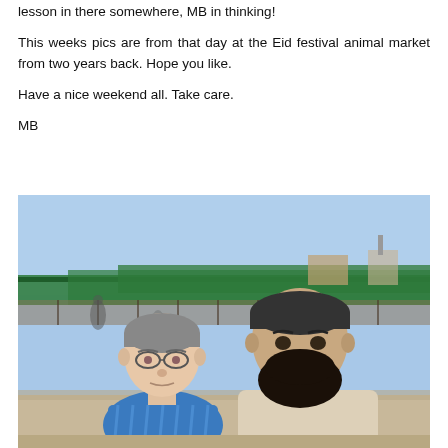lesson in there somewhere, MB in thinking!

This weeks pics are from that day at the Eid festival animal market from two years back. Hope you like.

Have a nice weekend all. Take care.

MB
[Figure (photo): Two men standing outdoors at an animal market. The man on the left is shorter, wearing a grey skull cap and blue striped polo shirt with glasses. The man on the right is taller with a dark beard and cap wearing a light beige shirt. Green awning/tent structure visible in the background with a busy outdoor market setting.]